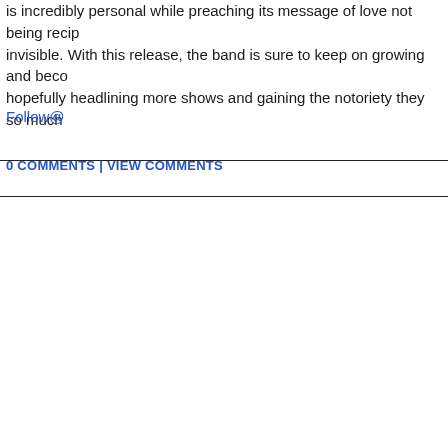is incredibly personal while preaching its message of love not being recip... invisible. With this release, the band is sure to keep on growing and beco... hopefully headlining more shows and gaining the notoriety they so much...
Follow@
0 COMMENTS | VIEW COMMENTS